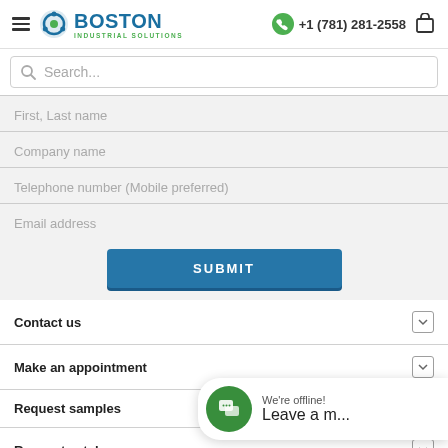Boston Industrial Solutions — +1 (781) 281-2558
Search...
First, Last name
Company name
Telephone number (Mobile preferred)
Email address
SUBMIT
Contact us
Make an appointment
Request samples
Request catalog
We're offline! Leave a m...